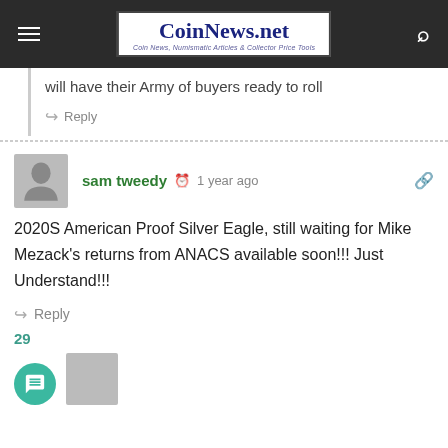CoinNews.net - Coin News, Numismatic Articles & Collector Price Tools
will have their Army of buyers ready to roll
Reply
sam tweedy · 1 year ago
2020S American Proof Silver Eagle, still waiting for Mike Mezack's returns from ANACS available soon!!! Just Understand!!!
Reply
29